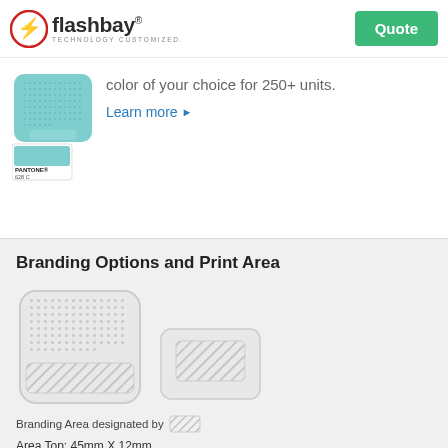flashbay TECHNOLOGY CUSTOMIZED. | Quote
[Figure (illustration): Pantone color swatch card showing teal/aqua color, labeled PANTONE 628 C, next to a teal Bluetooth speaker product]
color of your choice for 250+ units.
Learn more ▶
Branding Options and Print Area
[Figure (illustration): Two product branding diagrams: a larger square speaker with hatched branding area at bottom, and a smaller rectangular device with hatched branding area in center]
Branding Area designated by [hatched pattern]
Area Top: 45mm X 12mm